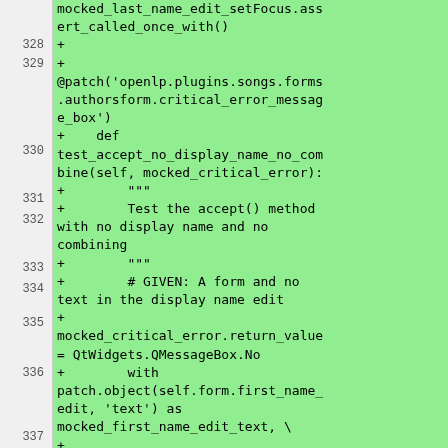[Figure (screenshot): Code diff view showing Python test code with green highlighted added lines. Line numbers 328-337 visible. Code includes @patch decorator, def test_accept_no_display_name_no_combine method, docstring, GIVEN comment, and mocked_critical_error setup.]